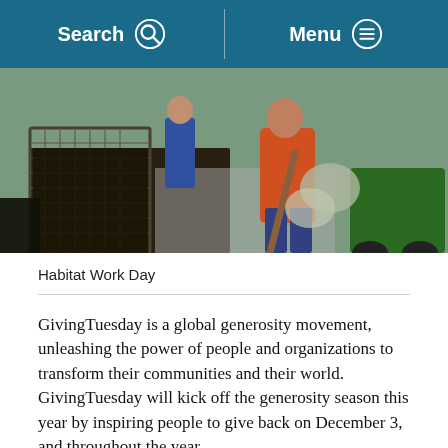Search  Menu
[Figure (photo): Outdoor photo showing a person in an orange jacket using a wooden-handled tool to work in a compost or garden bed area with wire mesh containers filled with dark soil/compost material. A green piece of equipment is visible on the right side.]
Habitat Work Day
GivingTuesday is a global generosity movement, unleashing the power of people and organizations to transform their communities and their world. GivingTuesday will kick off the generosity season this year by inspiring people to give back on December 3, and throughout the year.
People demonstrate generosity in many ways on GivingTuesday. Whether it's helping a neighbor or